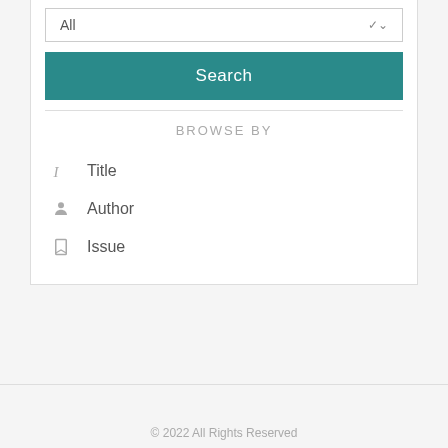All
Search
BROWSE BY
Title
Author
Issue
© 2022 All Rights Reserved